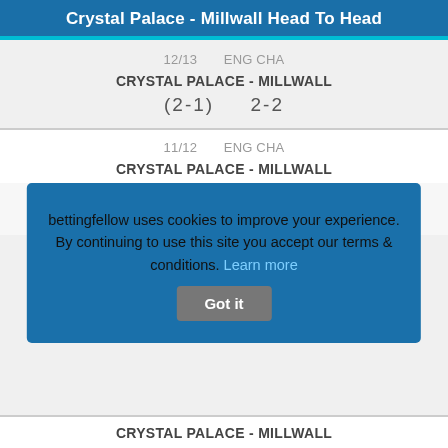Crystal Palace - Millwall Head To Head
12/13    ENG CHA
CRYSTAL PALACE - MILLWALL
(2-1)    2-2
11/12    ENG CHA
CRYSTAL PALACE - MILLWALL
bettingfellow uses cookies to improve your experience. By continuing to use this site you accept our terms & conditions. Learn more   Got it
CRYSTAL PALACE - MILLWALL